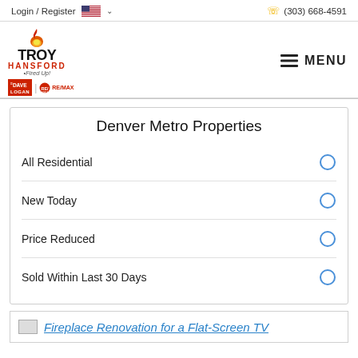Login / Register  (303) 668-4591
[Figure (logo): Troy Hansford Fired Up! Dave Logan RE/MAX real estate logo with hamburger menu button]
Denver Metro Properties
All Residential
New Today
Price Reduced
Sold Within Last 30 Days
Fireplace Renovation for a Flat-Screen TV